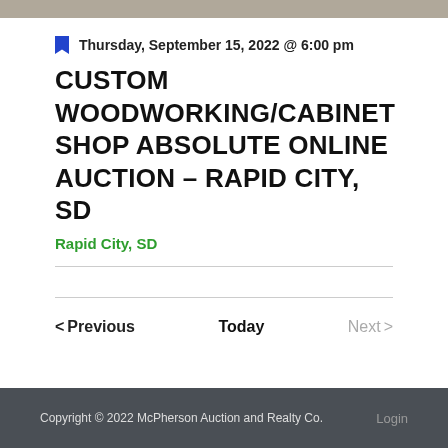[Figure (photo): Partial photo strip at the top of the page showing a gray/brown textured surface]
Thursday, September 15, 2022 @ 6:00 pm
CUSTOM WOODWORKING/CABINET SHOP ABSOLUTE ONLINE AUCTION – RAPID CITY, SD
Rapid City, SD
< Previous   Today   Next >
Copyright © 2022 McPherson Auction and Realty Co.   Login